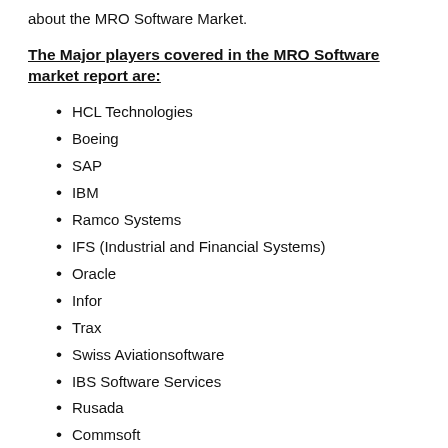about the MRO Software Market.
The Major players covered in the MRO Software market report are:
HCL Technologies
Boeing
SAP
IBM
Ramco Systems
IFS (Industrial and Financial Systems)
Oracle
Infor
Trax
Swiss Aviationsoftware
IBS Software Services
Rusada
Commsoft